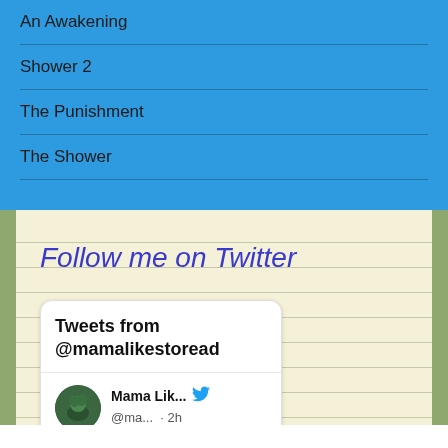An Awakening
Shower 2
The Punishment
The Shower
Follow me on Twitter
[Figure (screenshot): Twitter widget showing 'Tweets from @mamalikestoread' with a tweet by 'Mama Lik... @ma... · 2h' and text 'Conversations are best with']